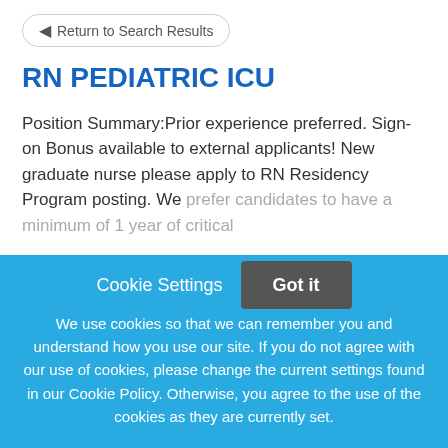← Return to Search Results
RN PEDIATRIC ICU
Position Summary:Prior experience preferred. Sign-on Bonus available to external applicants! New graduate nurse please apply to RN Residency Program posting. We prefer candidates to have a minimum of 1 year of critical
This job listing is no longer active.
Cookie Settings
Got it
We use cookies so that we can remember you and understand how you use our site. If you do not agree with our use of cookies, please change the current settings found in our Cookie Policy. Otherwise, you agree to the use of the cookies as they are currently set.